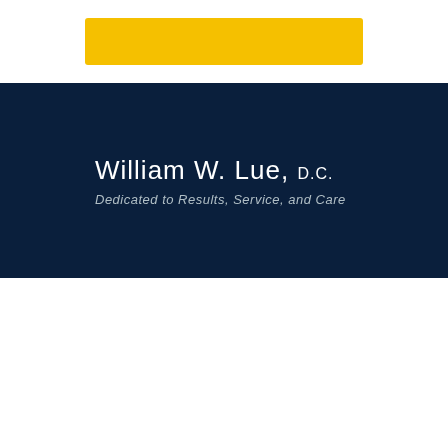[Figure (other): Yellow/gold horizontal rounded rectangle bar at top of page, used as decorative header accent element]
William W. Lue, D.C.
Dedicated to Results, Service, and Care